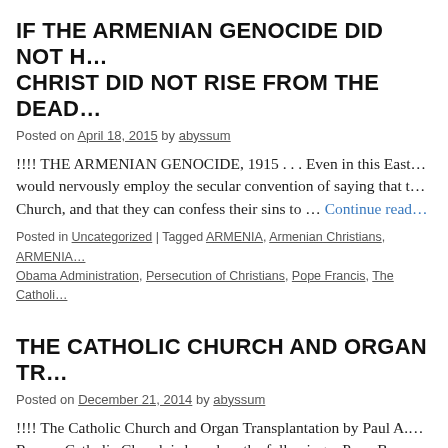IF THE ARMENIAN GENOCIDE DID NOT H... CHRIST DID NOT RISE FROM THE DEAD...
Posted on April 18, 2015 by abyssum
!!!! THE ARMENIAN GENOCIDE, 1915 . . . Even in this Easte... would nervously employ the secular convention of saying that t... Church, and that they can confess their sins to … Continue read
Posted in Uncategorized | Tagged ARMENIA, Armenian Christians, ARMENIA... Obama Administration, Persecution of Christians, Pope Francis, The Catholi...
THE CATHOLIC CHURCH AND ORGAN TR...
Posted on December 21, 2014 by abyssum
!!!! The Catholic Church and Organ Transplantation by Paul A. ... Roman Catholic Church is based on the following:   Pope Bene... teachings on November 7, 2008. These have … Continue readin
Posted in Uncategorized | Tagged Organ Transplantation by Paul A. Byrne...